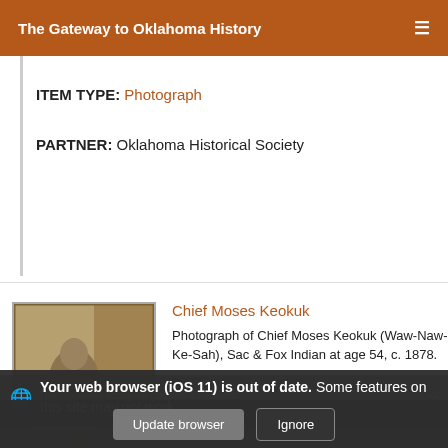The Gateway to Oklahoma History
ITEM TYPE: Photograph
PARTNER: Oklahoma Historical Society
Chief Moses Keokuk
Photograph of Chief Moses Keokuk (Waw-Naw-Ke-Sah), Sac & Fox Indian at age 54, c. 1878.
DATE: 1878~
ITEM TYPE: Photograph
PARTNER: Oklahoma Historical
[Figure (photo): Historical photograph of Chief Moses Keokuk (Waw-Naw-Ke-Sah), a Sac & Fox Indian, standing, circa 1878. Sepia-toned portrait.]
Your web browser (iOS 11) is out of date. Some features on this site may not work.